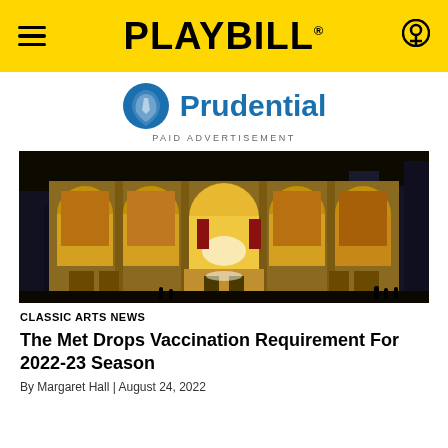PLAYBILL
[Figure (logo): Prudential logo with blue rock icon and blue text reading Prudential, below which is the text PAID ADVERTISEMENT]
PAID ADVERTISEMENT
[Figure (photo): Nighttime exterior photo of the Metropolitan Opera House at Lincoln Center, showing its grand arched windows lit from within, displaying large murals, surrounded by dark sky and city buildings]
CLASSIC ARTS NEWS
The Met Drops Vaccination Requirement For 2022-23 Season
By Margaret Hall | August 24, 2022